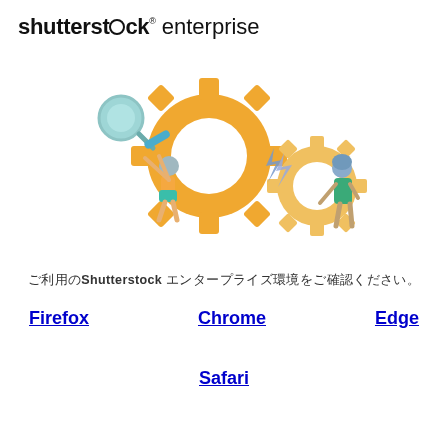[Figure (logo): Shutterstock enterprise logo with bold sans-serif text and circular 'o' glyph]
[Figure (illustration): Illustration of two cartoon characters working with large orange gears/cogs, one holding a magnifying glass monocular, one adjusting a gear, with lightning bolt sparks between the gears]
ご利用のShutterstock エンタープライズ環境をご確認ください。
Firefox   Chrome   Edge
Safari